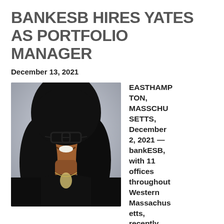BANKESB HIRES YATES AS PORTFOLIO MANAGER
December 13, 2021
[Figure (photo): Professional headshot of a Black woman with long black hair, wearing glasses, a black turtleneck, and a necklace, smiling against a light background.]
EASTHAMPTON, MASSACHUSETTS, December 2, 2021 — bankESB, with 11 offices throughout Western Massachusetts, recently